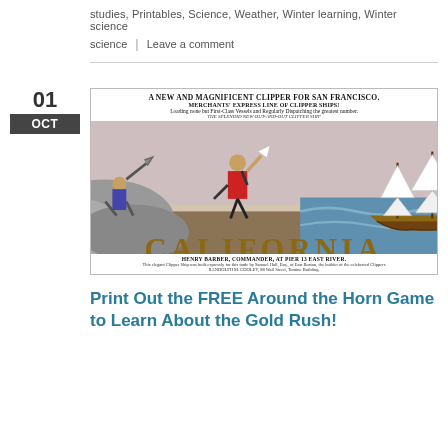studies, Printables, Science, Weather, Winter learning, Winter science   |   Leave a comment
[Figure (illustration): Historical poster advertising 'A New and Magnificent Clipper for San Francisco' - Merchants' Express Line of Clipper Ships. Shows gold miners on shore and a sailing ship. Large text reads CALIFORNIA. Henry Barber, Commander, at Pier 13 East River. Randolph M. Cooley, 88 Wall Street, Tontine Building.]
Print Out the FREE Around the Horn Game to Learn About the Gold Rush!